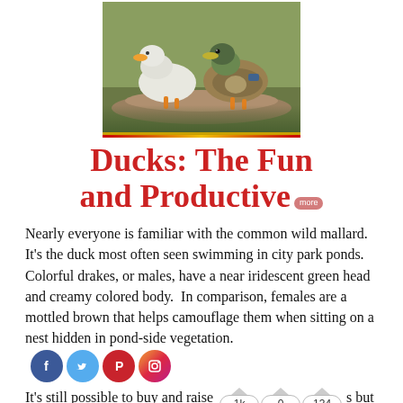[Figure (photo): Two ducks (a white duck and a mallard) standing on a surface near water, with a yellow/red border at the bottom]
Ducks: The Fun and Productive
Nearly everyone is familiar with the common wild mallard. It's the duck most often seen swimming in city park ponds. Colorful drakes, or males, have a near iridescent green head and creamy colored body. In comparison, females are a mottled brown that helps camouflage them when sitting on a nest hidden in pond-side vegetation.
It's still possible to buy and raise ducks but more often people choose one of the many breeds developed from this wild ancestor.